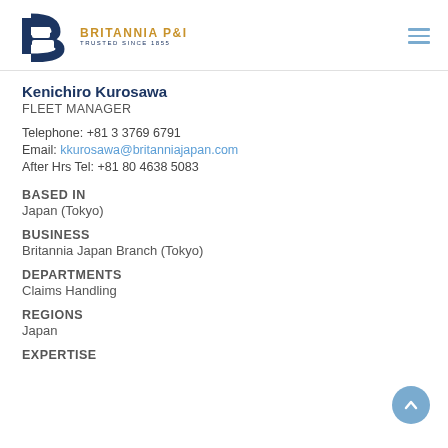BRITANNIA P&I — TRUSTED SINCE 1855
Kenichiro Kurosawa
FLEET MANAGER
Telephone: +81 3 3769 6791
Email: kkurosawa@britanniajapan.com
After Hrs Tel: +81 80 4638 5083
BASED IN
Japan (Tokyo)
BUSINESS
Britannia Japan Branch (Tokyo)
DEPARTMENTS
Claims Handling
REGIONS
Japan
EXPERTISE